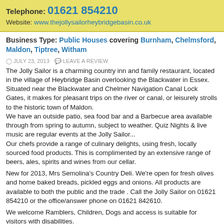Telephone: 01621 854210
Website: www.thejollysailorheybridgebasin.co.uk
Business Type: Public Houses covering Burnham, Chelmsford, Maldon, Tiptree, Witham
JULY 23, 2013   LEAVE A REVIEW
The Jolly Sailor is a charming country inn and family restaurant, located in the village of Heybridge Basin overlooking the Blackwater in Essex.
Situated near the Blackwater and Chelmer Navigation Canal Lock Gates, it makes for pleasant trips on the river or canal, or leisurely strolls to the historic town of Maldon.
We have an outside patio, sea food bar and a Barbecue area available through from spring to autumn, subject to weather. Quiz Nights & live music are regular events at the Jolly Sailor...
Our chefs provide a range of culinary delights, using fresh, locally sourced food products. This is complimented by an extensive range of beers, ales, spirits and wines from our cellar.
New for 2013, Mrs Semolina's Country Deli. We're open for fresh olives and home baked breads, pickled eggs and onions. All products are available to both the public and the trade . Call the Jolly Sailor on 01621 854210 or the office/answer phone on 01621 842610.
We welcome Ramblers, Children, Dogs and access is suitable for visitors with disabilities.